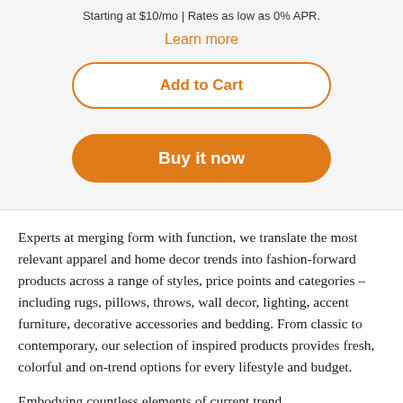Starting at $10/mo | Rates as low as 0% APR.
Learn more
Add to Cart
Buy it now
Experts at merging form with function, we translate the most relevant apparel and home decor trends into fashion-forward products across a range of styles, price points and categories – including rugs, pillows, throws, wall decor, lighting, accent furniture, decorative accessories and bedding. From classic to contemporary, our selection of inspired products provides fresh, colorful and on-trend options for every lifestyle and budget.
Embodying countless elements of current trend